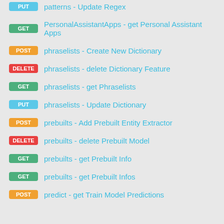PUT patterns - Update Regex
GET PersonalAssistantApps - get Personal Assistant Apps
POST phraselists - Create New Dictionary
DELETE phraselists - delete Dictionary Feature
GET phraselists - get Phraselists
PUT phraselists - Update Dictionary
POST prebuilts - Add Prebuilt Entity Extractor
DELETE prebuilts - delete Prebuilt Model
GET prebuilts - get Prebuilt Info
GET prebuilts - get Prebuilt Infos
POST predict - get Train Model Predictions